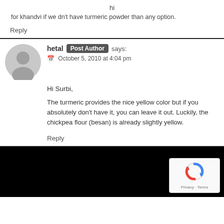hi
for khandvi if we dn't have turmeric powder than any option.
Reply
hetal Post Author says:
October 5, 2010 at 4:04 pm
Hi Surbi,
The turmeric provides the nice yellow color but if you absolutely don't have it, you can leave it out. Luckily, the chickpea flour (besan) is already slightly yellow.
Reply
[Figure (logo): reCAPTCHA logo with Privacy and Terms links]